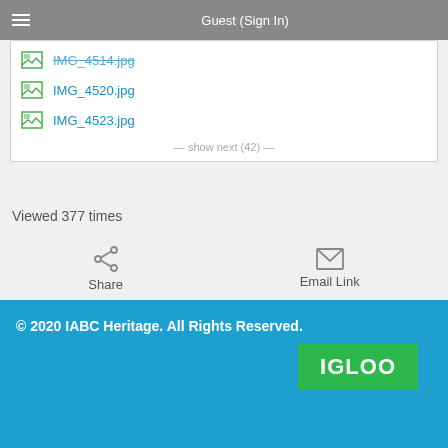Guest (Sign In)
IMG_4514.jpg
IMG_4520.jpg
IMG_4523.jpg
— show next (42) —
Viewed 377 times
Share
Email Link
© 2020 IABC Heritage. All Rights Reserved.